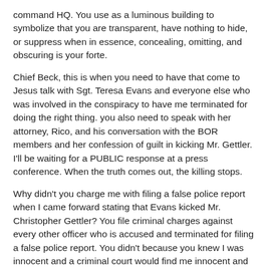command HQ. You use as a luminous building to symbolize that you are transparent, have nothing to hide, or suppress when in essence, concealing, omitting, and obscuring is your forte.
Chief Beck, this is when you need to have that come to Jesus talk with Sgt. Teresa Evans and everyone else who was involved in the conspiracy to have me terminated for doing the right thing. you also need to speak with her attorney, Rico, and his conversation with the BOR members and her confession of guilt in kicking Mr. Gettler. I'll be waiting for a PUBLIC response at a press conference. When the truth comes out, the killing stops.
Why didn't you charge me with filing a false police report when I came forward stating that Evans kicked Mr. Christopher Gettler? You file criminal charges against every other officer who is accused and terminated for filing a false police report. You didn't because you knew I was innocent and a criminal court would find me innocent and expose your department for suppressing the truth and retaliation, that's why.